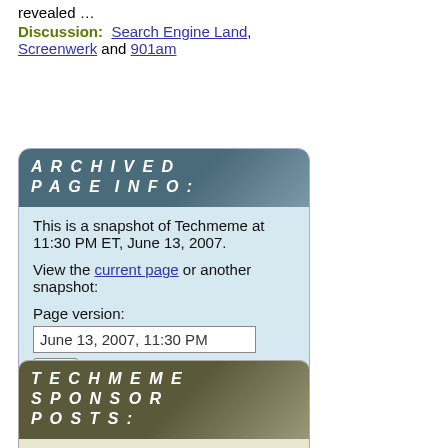revealed …
Discussion: Search Engine Land, Screenwerk and 901am
[Figure (infographic): Archived Page Info box with teal header reading 'ARCHIVED PAGE INFO:' and light blue body containing text about a Techmeme snapshot at 11:30 PM ET, June 13, 2007, with a link to current page, page version dropdown showing 'June 13, 2007, 11:30 PM', and a Go button]
[Figure (infographic): Techmeme Sponsor Posts box with olive/khaki header reading 'TECHMEME SPONSOR POSTS:' and a body section showing Intel link and Intel logo]